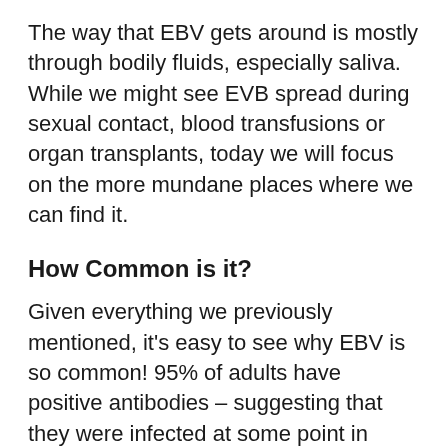The way that EBV gets around is mostly through bodily fluids, especially saliva. While we might see EVB spread during sexual contact, blood transfusions or organ transplants, today we will focus on the more mundane places where we can find it.
How Common is it?
Given everything we previously mentioned, it's easy to see why EBV is so common! 95% of adults have positive antibodies – suggesting that they were infected at some point in time. Because of this, EBV is obviously something that we are going to